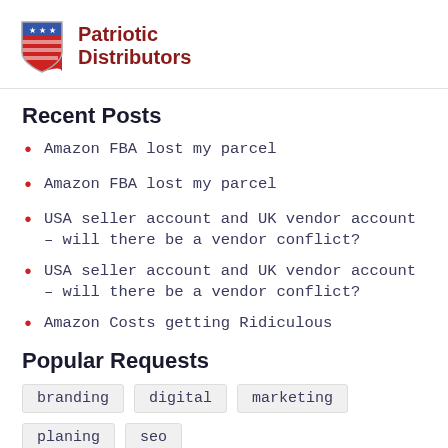Patriotic Distributors
Recent Posts
Amazon FBA lost my parcel
Amazon FBA lost my parcel
USA seller account and UK vendor account – will there be a vendor conflict?
USA seller account and UK vendor account – will there be a vendor conflict?
Amazon Costs getting Ridiculous
Popular Requests
branding
digital
marketing
planing
seo